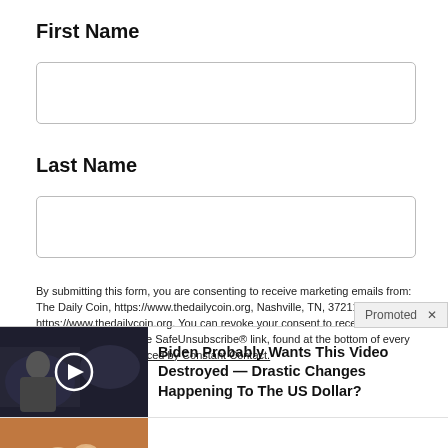First Name
[Figure (other): Empty text input box for First Name]
Last Name
[Figure (other): Empty text input box for Last Name]
By submitting this form, you are consenting to receive marketing emails from: The Daily Coin, https://www.thedailycoin.org, Nashville, TN, 37211, US, https://www.thedailycoin.org. You can revoke your consent to receive emails at any time by using the SafeUnsubscribe® link, found at the bottom of every email. Emails are serviced by Constant Contact.
[Figure (screenshot): Promoted ad: Biden Probably Wants This Video Destroyed — Drastic Changes Happening To The US Dollar? with video thumbnail]
[Figure (screenshot): Promoted ad: 4 Warning Signs Of Dementia (#2 Is Creepy) with finger/hand thumbnail]